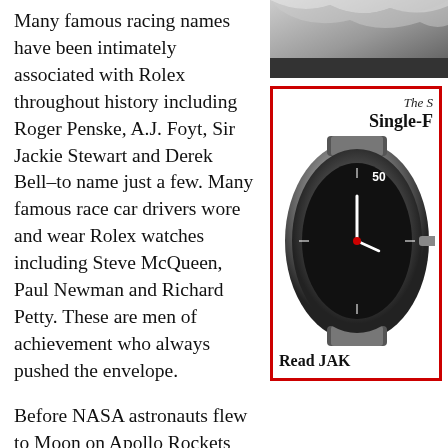Many famous racing names have been intimately associated with Rolex throughout history including Roger Penske, A.J. Foyt, Sir Jackie Stewart and Derek Bell–to name just a few. Many famous race car drivers wore and wear Rolex watches including Steve McQueen, Paul Newman and Richard Petty. These are men of achievement who always pushed the envelope.
Before NASA astronauts flew to Moon on Apollo Rockets wearing Rolex watches; before William Knight broke the record becoming the worlds fastest man when he flew the hypersonic x-15 at mach 6.7 in 1967 while wearing his Rolex; before Chuck Yeager broke the speed-of-sound barrier while wearing his Rolex Oyster in 1947, there was another man of amazing achievement that broke more world land and water speed records than any other man in
[Figure (photo): Partial photo of a person or object, cropped at top right of page]
The S Single-F
[Figure (photo): Close-up photo of a Rolex watch with black bezel showing the number 50]
Read JAK